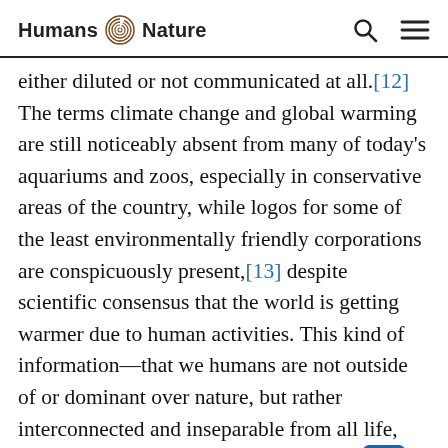Humans Nature
either diluted or not communicated at all.[12] The terms climate change and global warming are still noticeably absent from many of today's aquariums and zoos, especially in conservative areas of the country, while logos for some of the least environmentally friendly corporations are conspicuously present,[13] despite scientific consensus that the world is getting warmer due to human activities. This kind of information—that we humans are not outside of or dominant over nature, but rather interconnected and inseparable from all life, and that our actions resonate globally—could be communicated to visitors in a way that